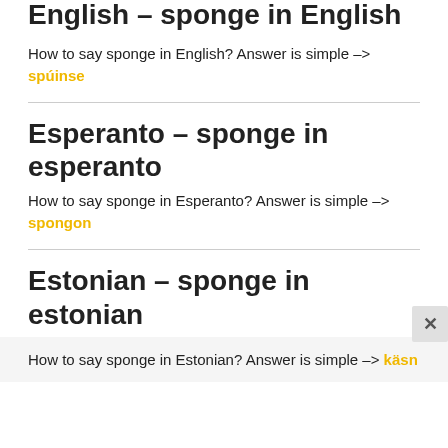English – sponge in English
How to say sponge in English? Answer is simple –> spúinse
Esperanto – sponge in esperanto
How to say sponge in Esperanto? Answer is simple –> spongon
Estonian – sponge in estonian
How to say sponge in Estonian? Answer is simple –> käsn